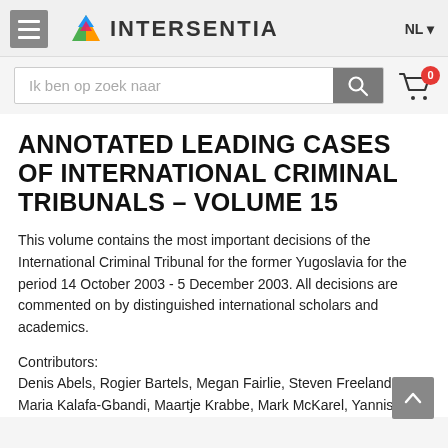INTERSENTIA | NL
ANNOTATED LEADING CASES OF INTERNATIONAL CRIMINAL TRIBUNALS – VOLUME 15
This volume contains the most important decisions of the International Criminal Tribunal for the former Yugoslavia for the period 14 October 2003 - 5 December 2003. All decisions are commented on by distinguished international scholars and academics.
Contributors:
Denis Abels, Rogier Bartels, Megan Fairlie, Steven Freeland, Maria Kalafa-Gbandi, Maartje Krabbe, Mark McKarel, Yannis